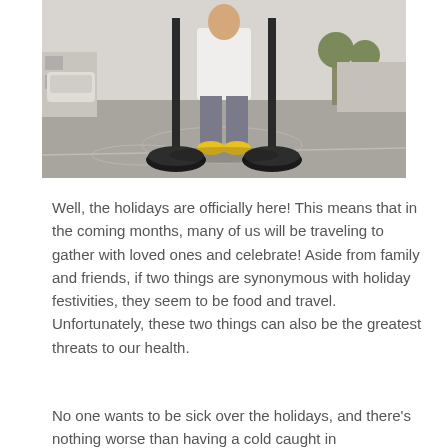[Figure (photo): A person standing outdoors in a parking lot holding two heavy barbell weight poles with weight plates on the ground. The person is wearing a white shirt, grey pants, and yellow shoes.]
Well, the holidays are officially here! This means that in the coming months, many of us will be traveling to gather with loved ones and celebrate! Aside from family and friends, if two things are synonymous with holiday festivities, they seem to be food and travel. Unfortunately, these two things can also be the greatest threats to our health.
No one wants to be sick over the holidays, and there's nothing worse than having a cold caught in